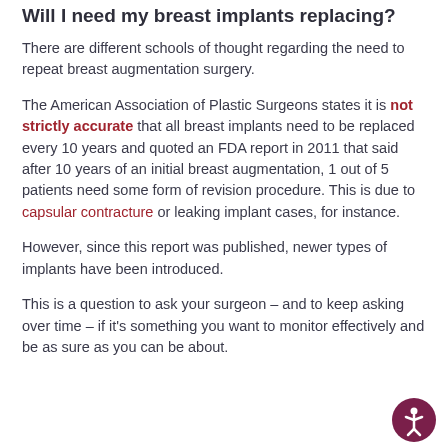Will I need my breast implants replacing?
There are different schools of thought regarding the need to repeat breast augmentation surgery.
The American Association of Plastic Surgeons states it is not strictly accurate that all breast implants need to be replaced every 10 years and quoted an FDA report in 2011 that said after 10 years of an initial breast augmentation, 1 out of 5 patients need some form of revision procedure. This is due to capsular contracture or leaking implant cases, for instance.
However, since this report was published, newer types of implants have been introduced.
This is a question to ask your surgeon – and to keep asking over time – if it's something you want to monitor effectively and be as sure as you can be about.